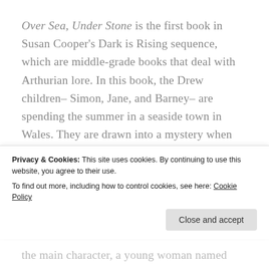Over Sea, Under Stone is the first book in Susan Cooper's Dark is Rising sequence, which are middle-grade books that deal with Arthurian lore. In this book, the Drew children– Simon, Jane, and Barney– are spending the summer in a seaside town in Wales. They are drawn into a mystery when they find a strange map in their house's attic. With the help of their Great Uncle Merry, the find themselves on a quest greater than anything they expected. This is a beautiful series
the main character, a young woman named
Privacy & Cookies: This site uses cookies. By continuing to use this website, you agree to their use.
To find out more, including how to control cookies, see here: Cookie Policy